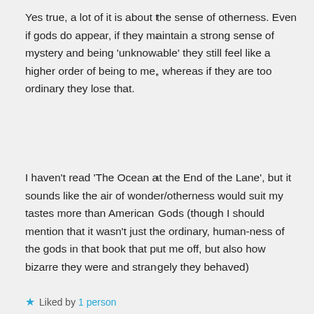Yes true, a lot of it is about the sense of otherness. Even if gods do appear, if they maintain a strong sense of mystery and being 'unknowable' they still feel like a higher order of being to me, whereas if they are too ordinary they lose that.
I haven't read 'The Ocean at the End of the Lane', but it sounds like the air of wonder/otherness would suit my tastes more than American Gods (though I should mention that it wasn't just the ordinary, human-ness of the gods in that book that put me off, but also how bizarre they were and strangely they behaved)
★ Liked by 1 person